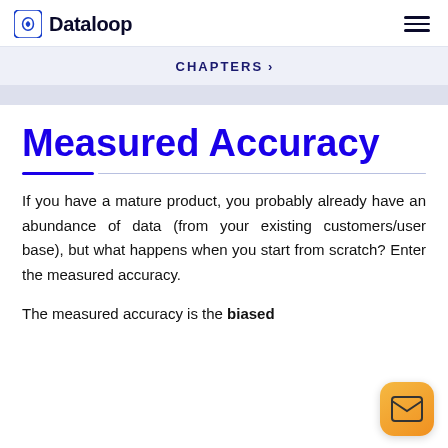Dataloop
CHAPTERS >
Measured Accuracy
If you have a mature product, you probably already have an abundance of data (from your existing customers/user base), but what happens when you start from scratch? Enter the measured accuracy.
The measured accuracy is the biased